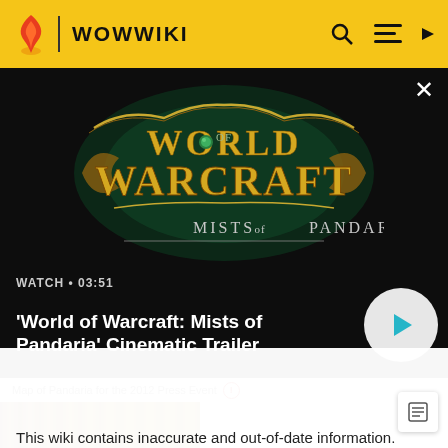WOWWIKI
[Figure (screenshot): World of Warcraft: Mists of Pandaria cinematic trailer video thumbnail showing the WoW: Mists of Pandaria logo on a dark background, with WATCH • 03:51 label and play button]
Map of Pandaria for the 2012 Press Event ⓘ
This wiki contains inaccurate and out-of-date information. Please head over to https://wowpedia.fandom.com for more accurate and up-to-date game information.